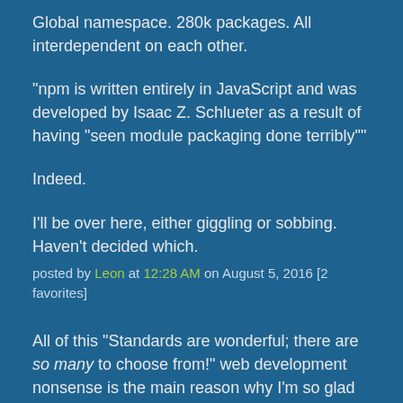Global namespace. 280k packages. All interdependent on each other.
"npm is written entirely in JavaScript and was developed by Isaac Z. Schlueter as a result of having "seen module packaging done terribly""
Indeed.
I'll be over here, either giggling or sobbing. Haven't decided which.
posted by Leon at 12:28 AM on August 5, 2016 [2 favorites]
All of this "Standards are wonderful; there are so many to choose from!" web development nonsense is the main reason why I'm so glad I've always been more of a back-end guy. (Ooh, matron.)